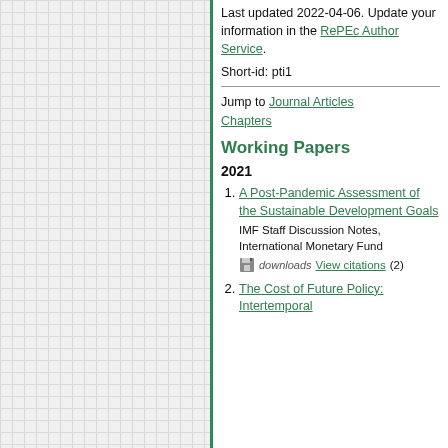[Figure (other): Left panel with grid/graph paper background and green border]
Last updated 2022-04-06. Update your information in the RePEc Author Service.
Short-id: pti1
Jump to Journal Articles Chapters
Working Papers
2021
A Post-Pandemic Assessment of the Sustainable Development Goals
IMF Staff Discussion Notes, International Monetary Fund
downloads View citations (2)
The Cost of Future Policy: Intertemporal